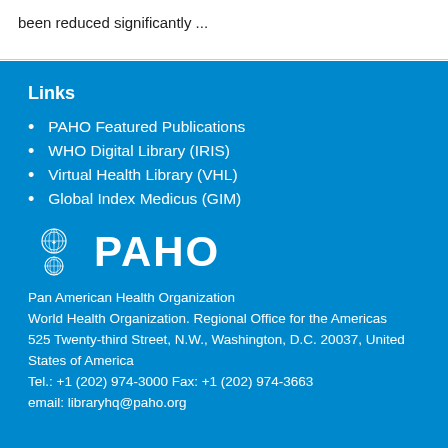been reduced significantly ...
Links
PAHO Featured Publications
WHO Digital Library (IRIS)
Virtual Health Library (VHL)
Global Index Medicus (GIM)
[Figure (logo): PAHO logo with two circular WHO/PAHO emblems and large PAHO wordmark in white on blue background]
Pan American Health Organization
World Health Organization. Regional Office for the Americas
525 Twenty-third Street, N.W., Washington, D.C. 20037, United States of America
Tel.: +1 (202) 974-3000 Fax: +1 (202) 974-3663
email: libraryhq@paho.org